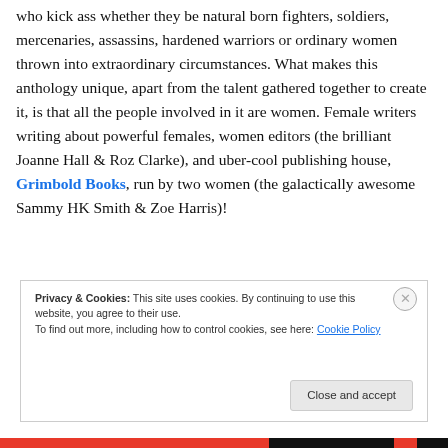who kick ass whether they be natural born fighters, soldiers, mercenaries, assassins, hardened warriors or ordinary women thrown into extraordinary circumstances. What makes this anthology unique, apart from the talent gathered together to create it, is that all the people involved in it are women. Female writers writing about powerful females, women editors (the brilliant Joanne Hall & Roz Clarke), and uber-cool publishing house, Grimbold Books, run by two women (the galactically awesome Sammy HK Smith & Zoe Harris)!
Privacy & Cookies: This site uses cookies. By continuing to use this website, you agree to their use. To find out more, including how to control cookies, see here: Cookie Policy
Close and accept